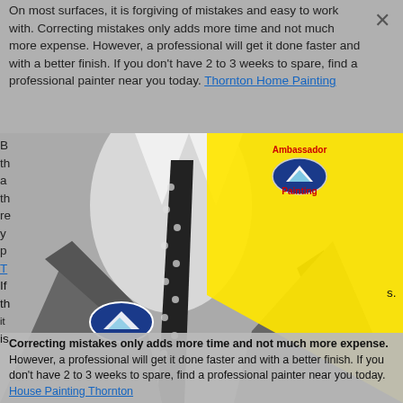On most surfaces, it is forgiving of mistakes and easy to work with. Correcting mistakes only adds more time and not much more expense. However, a professional will get it done faster and with a better finish. If you don't have 2 to 3 weeks to spare, find a professional painter near you today. Thornton Home Painting
[Figure (photo): Black and white photo of a man in a suit with polka-dot tie and pocket square, wearing an Ambassador Painting logo badge on his lapel. A large yellow triangle overlays the right side of the image.]
Correcting mistakes only adds more time and not much more expense. However, a professional will get it done faster and with a better finish. If you don't have 2 to 3 weeks to spare, find a professional painter near you today. House Painting Thornton